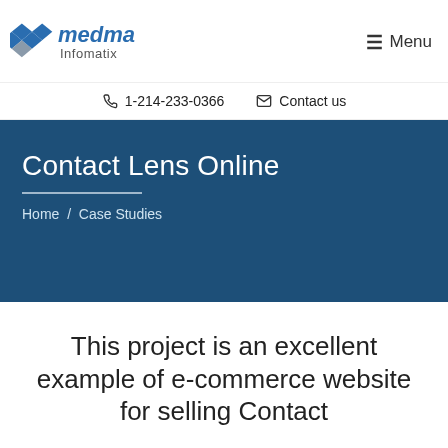[Figure (logo): Medma Infomatix logo with blue diamond shapes and company name]
≡ Menu
📞 1-214-233-0366   ✉ Contact us
Contact Lens Online
Home / Case Studies
This project is an excellent example of e-commerce website for selling Contact